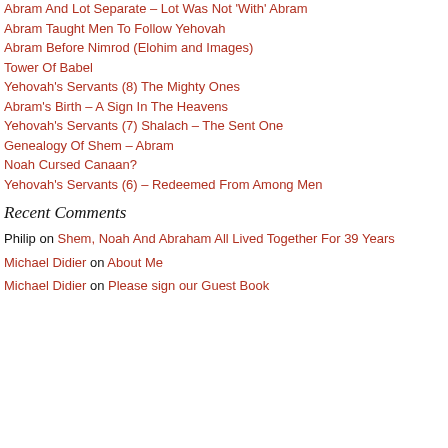Abram And Lot Separate – Lot Was Not 'With' Abram
Abram Taught Men To Follow Yehovah
Abram Before Nimrod (Elohim and Images)
Tower Of Babel
Yehovah's Servants (8) The Mighty Ones
Abram's Birth – A Sign In The Heavens
Yehovah's Servants (7) Shalach – The Sent One
Genealogy Of Shem – Abram
Noah Cursed Canaan?
Yehovah's Servants (6) – Redeemed From Among Men
Recent Comments
Philip on Shem, Noah And Abraham All Lived Together For 39 Years
Michael Didier on About Me
Michael Didier on Please sign our Guest Book